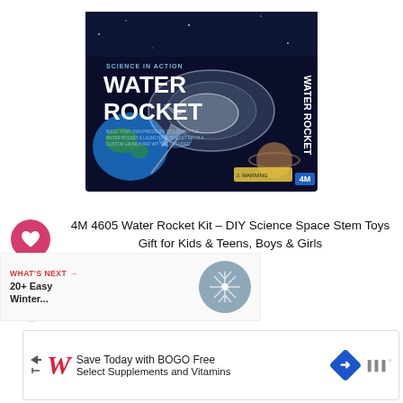[Figure (photo): Water Rocket Kit product box showing a rocket launching against a space background with Earth and planets visible. Box reads 'SCIENCE IN ACTION - WATER ROCKET' in white text on dark blue/black background.]
4M 4605 Water Rocket Kit – DIY Science Space Stem Toys Gift for Kids & Teens, Boys & Girls
54
WHAT'S NEXT → 20+ Easy Winter...
[Figure (photo): Thumbnail image of winter craft/snowflake activity]
[Figure (screenshot): Walgreens advertisement banner: Save Today with BOGO Free Select Supplements and Vitamins]